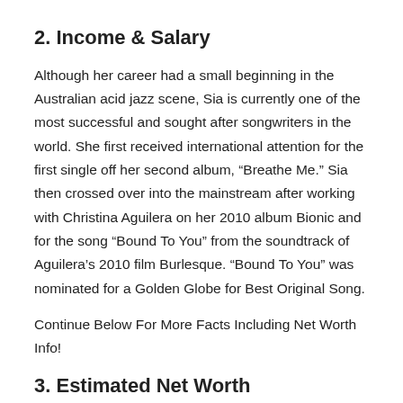2. Income & Salary
Although her career had a small beginning in the Australian acid jazz scene, Sia is currently one of the most successful and sought after songwriters in the world. She first received international attention for the first single off her second album, “Breathe Me.” Sia then crossed over into the mainstream after working with Christina Aguilera on her 2010 album Bionic and for the song “Bound To You” from the soundtrack of Aguilera’s 2010 film Burlesque. “Bound To You” was nominated for a Golden Globe for Best Original Song.
Continue Below For More Facts Including Net Worth Info!
3. Estimated Net Worth